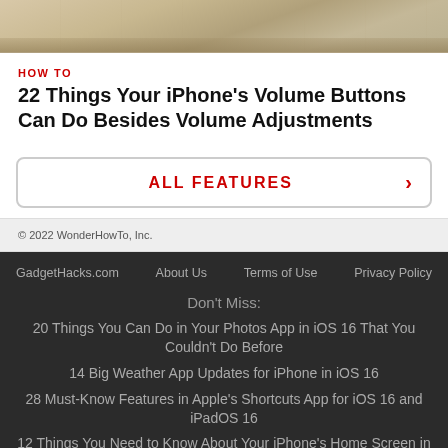[Figure (photo): Top portion of a photo showing wooden surface or desk, partially cropped]
HOW TO
22 Things Your iPhone's Volume Buttons Can Do Besides Volume Adjustments
ALL FEATURES ›
© 2022 WonderHowTo, Inc.
GadgetHacks.com   About Us   Terms of Use   Privacy Policy
Don't Miss:
20 Things You Can Do in Your Photos App in iOS 16 That You Couldn't Do Before
14 Big Weather App Updates for iPhone in iOS 16
28 Must-Know Features in Apple's Shortcuts App for iOS 16 and iPadOS 16
12 Things You Need to Know About Your iPhone's Home Screen in